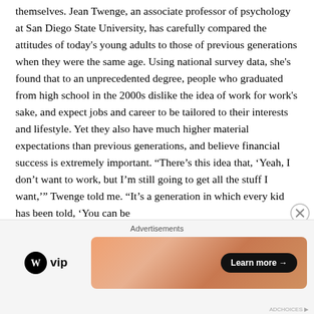themselves. Jean Twenge, an associate professor of psychology at San Diego State University, has carefully compared the attitudes of today's young adults to those of previous generations when they were the same age. Using national survey data, she's found that to an unprecedented degree, people who graduated from high school in the 2000s dislike the idea of work for work's sake, and expect jobs and career to be tailored to their interests and lifestyle. Yet they also have much higher material expectations than previous generations, and believe financial success is extremely important. “There’s this idea that, ‘Yeah, I don’t want to work, but I’m still going to get all the stuff I want,’” Twenge told me. “It’s a generation in which every kid has been told, ‘You can be
[Figure (other): Advertisement banner with WordPress VIP logo on left and an orange gradient Learn More button banner on right. Close (X) button in top right corner.]